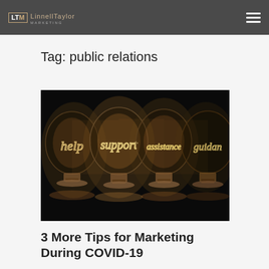LTM LinnellTaylor Marketing
Tag: public relations
[Figure (photo): Four illuminated vintage light bulbs against a black background, each with glowing filaments shaped as cursive words: 'help', 'support', 'assistance', 'guidance']
3 More Tips for Marketing During COVID-19